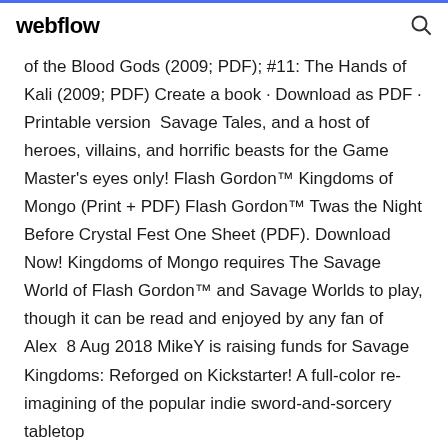webflow
of the Blood Gods (2009; PDF); #11: The Hands of Kali (2009; PDF) Create a book · Download as PDF · Printable version  Savage Tales, and a host of heroes, villains, and horrific beasts for the Game Master's eyes only! Flash Gordon™ Kingdoms of Mongo (Print + PDF) Flash Gordon™ Twas the Night Before Crystal Fest One Sheet (PDF). Download Now! Kingdoms of Mongo requires The Savage World of Flash Gordon™ and Savage Worlds to play, though it can be read and enjoyed by any fan of Alex  8 Aug 2018 MikeY is raising funds for Savage Kingdoms: Reforged on Kickstarter! A full-color re-imagining of the popular indie sword-and-sorcery tabletop